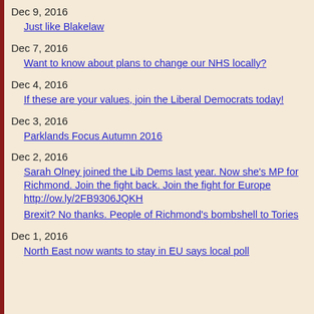Dec 9, 2016
Just like Blakelaw
Dec 7, 2016
Want to know about plans to change our NHS locally?
Dec 4, 2016
If these are your values, join the Liberal Democrats today!
Dec 3, 2016
Parklands Focus Autumn 2016
Dec 2, 2016
Sarah Olney joined the Lib Dems last year. Now she's MP for Richmond. Join the fight back. Join the fight for Europe http://ow.ly/2FB9306JQKH
Brexit? No thanks. People of Richmond's bombshell to Tories
Dec 1, 2016
North East now wants to stay in EU says local poll